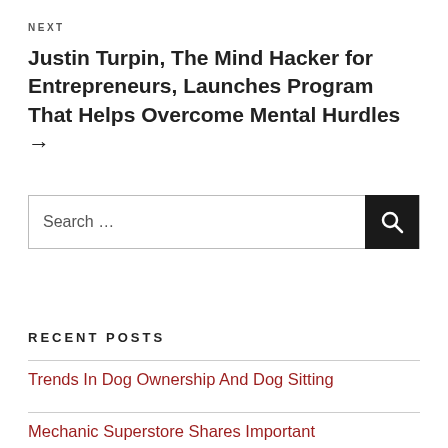NEXT
Justin Turpin, The Mind Hacker for Entrepreneurs, Launches Program That Helps Overcome Mental Hurdles →
[Figure (other): Search bar with text 'Search …' and a dark search button with magnifying glass icon]
RECENT POSTS
Trends In Dog Ownership And Dog Sitting
Mechanic Superstore Shares Important Considerations